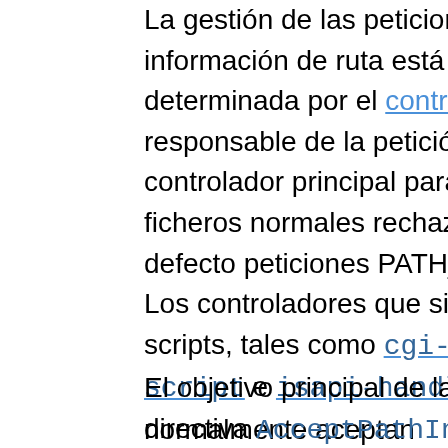La gestión de las peticiones con información de ruta está determinada por el controlador responsable de la petición. El controlador principal para para ficheros normales rechaza por defecto peticiones PATH_INFO. Los controladores que sirven scripts, tales como cgi-script e isapi-handler, normalmente aceptan PATH_INFO por defecto.
El objetivo principal de la directiva AcceptPathInfo es permitirte sobreescribir la